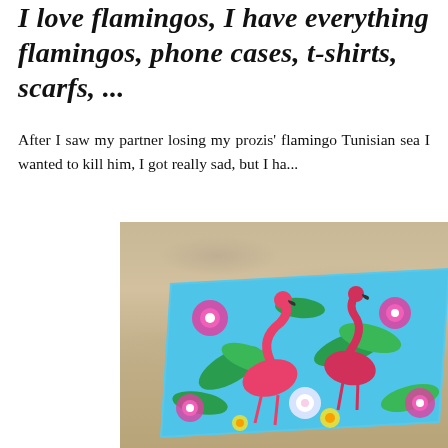I love flamingos, I have everything flamingos, phone cases, t-shirts, scarfs, ...
After I saw my partner losing my prozis' flamingo Tunisian sea I wanted to kill him, I got really sad, but I ha...
[Figure (photo): A colorful flamingo-patterned beach towel laid on sandy beach. The towel features pink flamingos, tropical flowers (hibiscus), and green tropical leaves on a blue background.]